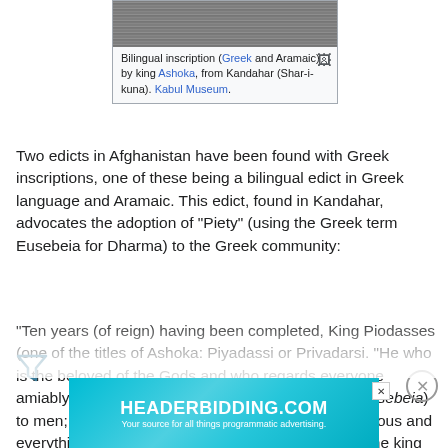[Figure (photo): Grainy black and white photo of a bilingual inscription (Greek and Aramaic) by king Ashoka, from Kandahar (Shar-i-kuna). Kabul Museum.]
Bilingual inscription (Greek and Aramaic) by king Ashoka, from Kandahar (Shar-i-kuna). Kabul Museum.
Two edicts in Afghanistan have been found with Greek inscriptions, one of these being a bilingual edict in Greek language and Aramaic. This edict, found in Kandahar, advocates the adoption of "Piety" (using the Greek term Eusebeia for Dharma) to the Greek community:
"Ten years (of reign) having been completed, King Piodasses (one of the titles of Ashoka: Piyadassi or Privadarsi. "He who is the beloved of the Gods and who regards everyone amiably") made known (the doctrine of) Piety (Gr. Eusebeia) to men; and from this moment he made men more pious and everything thrives throughout the whole world. And the king abstains
[Figure (other): HEADERBIDDING.COM advertisement banner - Your source for all things programmatic advertising.]